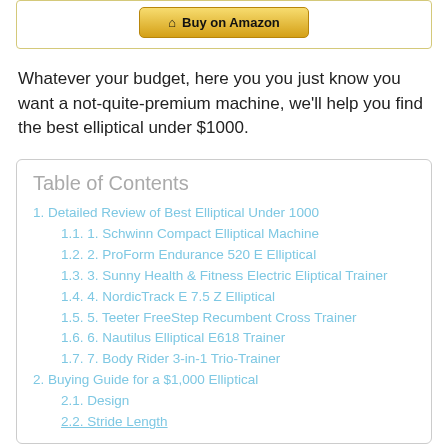[Figure (other): Buy on Amazon button inside a yellow-bordered box]
Whatever your budget, here you you just know you want a not-quite-premium machine, we'll help you find the best elliptical under $1000.
Table of Contents
1. Detailed Review of Best Elliptical Under 1000
1.1. 1. Schwinn Compact Elliptical Machine
1.2. 2. ProForm Endurance 520 E Elliptical
1.3. 3. Sunny Health & Fitness Electric Eliptical Trainer
1.4. 4. NordicTrack E 7.5 Z Elliptical
1.5. 5. Teeter FreeStep Recumbent Cross Trainer
1.6. 6. Nautilus Elliptical E618 Trainer
1.7. 7. Body Rider 3-in-1 Trio-Trainer
2. Buying Guide for a $1,000 Elliptical
2.1. Design
2.2. Stride Length